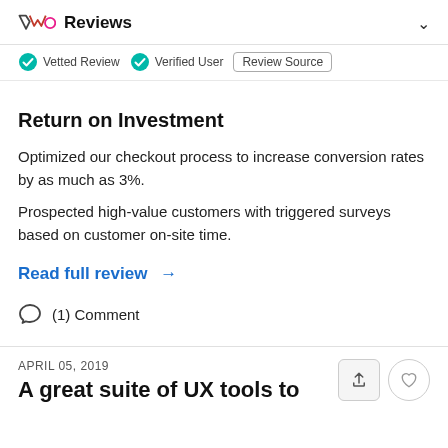VWO Reviews
Vetted Review  Verified User  Review Source
Return on Investment
Optimized our checkout process to increase conversion rates by as much as 3%.
Prospected high-value customers with triggered surveys based on customer on-site time.
Read full review →
(1) Comment
APRIL 05, 2019
A great suite of UX tools to